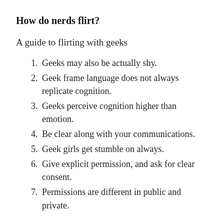How do nerds flirt?
A guide to flirting with geeks
Geeks may also be actually shy.
Geek frame language does not always replicate cognition.
Geeks perceive cognition higher than emotion.
Be clear along with your communications.
Geek girls get stumble on always.
Give explicit permission, and ask for clear consent.
Permissions are different in public and private.